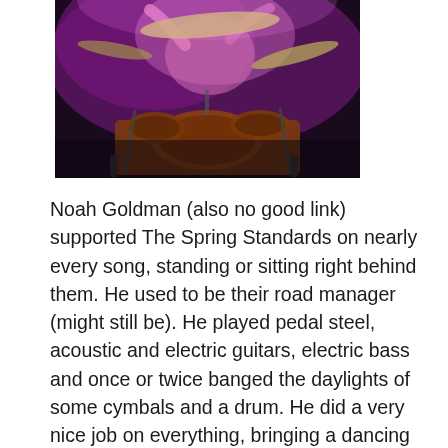[Figure (photo): A drummer performing on stage under purple/pink stage lighting, playing a drum kit with cymbals visible, shot from a low angle]
Noah Goldman (also no good link) supported The Spring Standards on nearly every song, standing or sitting right behind them. He used to be their road manager (might still be). He played pedal steel, acoustic and electric guitars, electric bass and once or twice banged the daylights of some cymbals and a drum. He did a very nice job on everything, bringing a dancing energy that matches up well with the rest of the group.